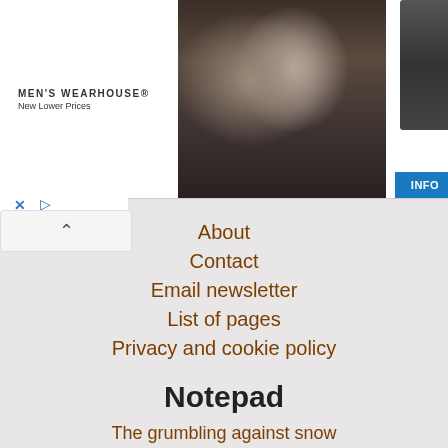[Figure (photo): Men's Wearhouse advertisement banner showing a couple in formal wear (man in dark suit, woman in backless dress), a man in a suit on the right, and an INFO button]
About
Contact
Email newsletter
List of pages
Privacy and cookie policy
Notepad
The grumbling against snow
Thinking about the word “their”
Amazon teasing me with 3D glasses
Lace border looks like rows of cocoons